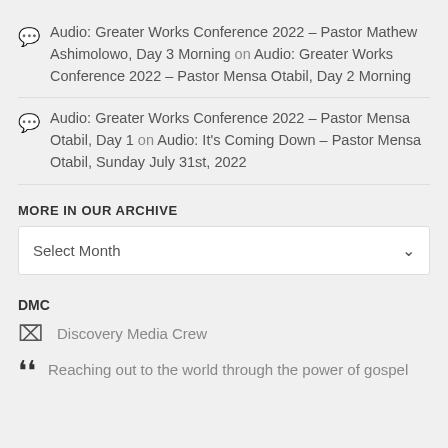Audio: Greater Works Conference 2022 – Pastor Mathew Ashimolowo, Day 3 Morning on Audio: Greater Works Conference 2022 – Pastor Mensa Otabil, Day 2 Morning
Audio: Greater Works Conference 2022 – Pastor Mensa Otabil, Day 1 on Audio: It's Coming Down – Pastor Mensa Otabil, Sunday July 31st, 2022
MORE IN OUR ARCHIVE
Select Month
DMC
Discovery Media Crew
Reaching out to the world through the power of gospel